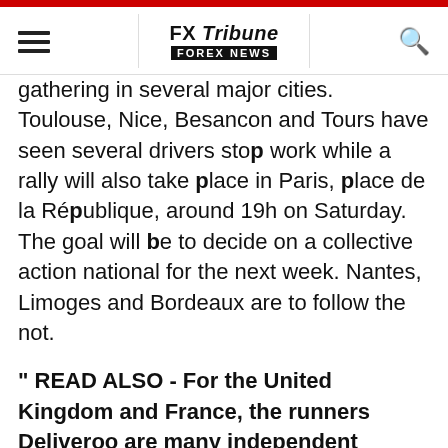FX Tribune FOREX NEWS
gathering in several major cities. Toulouse, Nice, Besancon and Tours have seen several drivers stop work while a rally will also take place in Paris, place de la République, around 19h on Saturday. The goal will be to decide on a collective action national for the next week. Nantes, Limoges and Bordeaux are to follow the not.
" READ ALSO - For the United Kingdom and France, the runners Deliveroo are many independent
In Deliveroo, one tries to calm the game. "The rallies do not touch that very few cities and few drivers go there. The majority of the runners are satisfied with this new pricing", argues one. The direction also states that 70% of drivers felt that the rates of the